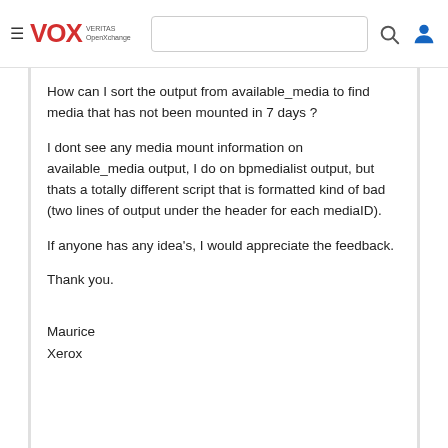≡ VOX VERITAS OpenXchange
How can I sort the output from available_media to find media that has not been mounted in 7 days ?
I dont see any media mount information on available_media output, I do on bpmedialist output, but thats a totally different script that is formatted kind of bad (two lines of output under the header for each mediaID).
If anyone has any idea's, I would appreciate the feedback.
Thank you.
Maurice
Xerox